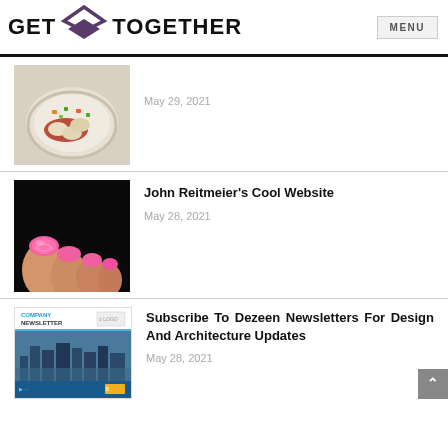GET TOGETHER  MENU
[Figure (photo): A plate of food with dumplings, tomato sauce, and mixed vegetables]
May 29, 2021
[Figure (photo): Close-up of toes with pink nail polish on a dark background]
John Reitmeier's Cool Website
May 28, 2021
[Figure (photo): Company Newsletter template showing city skyline]
Subscribe To Dezeen Newsletters For Design And Architecture Updates
May 28, 2021